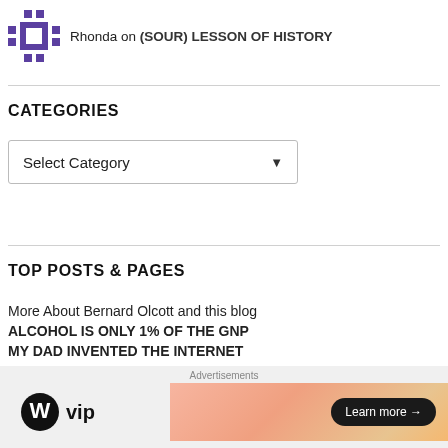Rhonda on (SOUR) LESSON OF HISTORY
CATEGORIES
Select Category
TOP POSTS & PAGES
More About Bernard Olcott and this blog
ALCOHOL IS ONLY 1% OF THE GNP
MY DAD INVENTED THE INTERNET
PAIR OF PEICES, PART 2
Advertisements
[Figure (logo): WordPress VIP logo with W circle and 'vip' text, alongside a gradient orange/peach advertisement banner with 'Learn more' button]